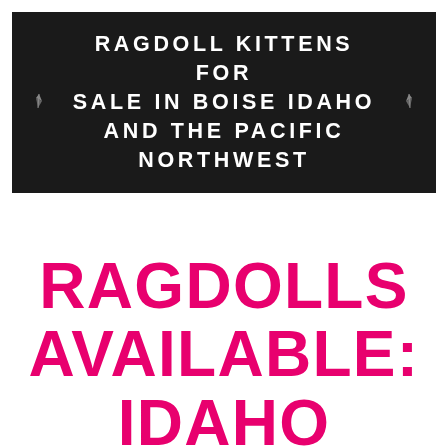RAGDOLL KITTENS FOR SALE IN BOISE IDAHO AND THE PACIFIC NORTHWEST
RAGDOLLS AVAILABLE: IDAHO